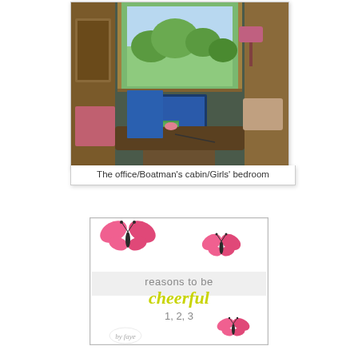[Figure (photo): Interior of a narrowboat cabin showing a desk/table with a laptop, books, and papers. A window at the back opens to green trees and a canal scene. Wooden paneling, cushioned seating, and a pink lamp shade visible.]
The office/Boatman's cabin/Girls' bedroom
[Figure (illustration): A decorative badge/logo with pink butterflies and the text 'reasons to be cheerful 1, 2, 3' in grey and yellow-green script lettering on a white background with a grey border.]